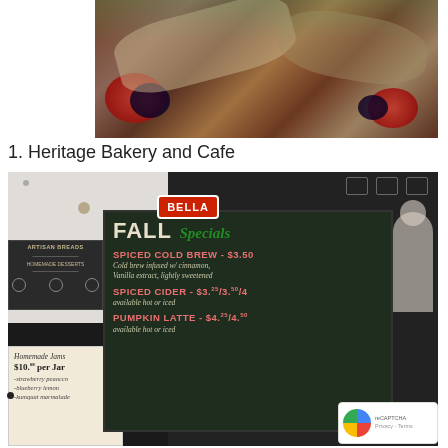[Figure (photo): Close-up photo of artisan toast/bread slices with berries (raspberries and blueberries) on a wooden board]
1. Heritage Bakery and Cafe
[Figure (photo): Interior of Heritage Bakery and Cafe showing the Bella logo sign, a chalkboard menu with Fall Specials including Spiced Cold Brew $3.50, Spiced Cider $3.25/$3.50/$4, Pumpkin Latte $4.25/$4.50, and a homemade jams sign showing $10.08 per jar with strawberry peaocco, blueberry lemon, kumquat marmalade flavors. Also shows an artisan breads menu board and a reCAPTCHA badge.]
Homemade Jams $10.08 per jar - strawberry peaocco, blueberry lemon, kumquat marmalade